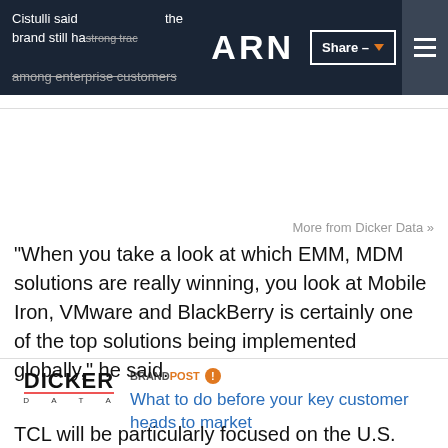Cistulli said the brand still has strong traction among enterprise customers
[Figure (logo): ARN logo in white on dark header bar]
[Figure (logo): Dicker Data logo]
BRANDPOST What to do before your key customer heads to market
More from Dicker Data »
"When you take a look at which EMM, MDM solutions are really winning, you look at Mobile Iron, VMware and BlackBerry is certainly one of the top solutions being implemented globally," he said.
TCL will be particularly focused on the U.S. and Canadian